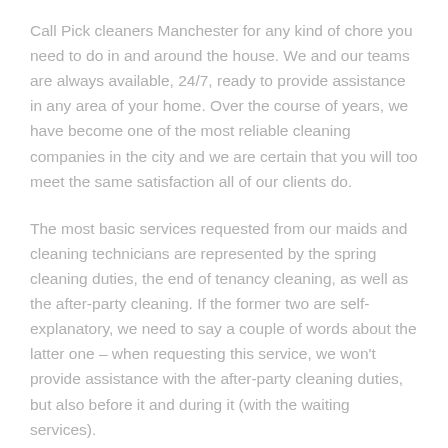Call Pick cleaners Manchester for any kind of chore you need to do in and around the house. We and our teams are always available, 24/7, ready to provide assistance in any area of your home. Over the course of years, we have become one of the most reliable cleaning companies in the city and we are certain that you will too meet the same satisfaction all of our clients do.
The most basic services requested from our maids and cleaning technicians are represented by the spring cleaning duties, the end of tenancy cleaning, as well as the after-party cleaning. If the former two are self-explanatory, we need to say a couple of words about the latter one – when requesting this service, we won't provide assistance with the after-party cleaning duties, but also before it and during it (with the waiting services).